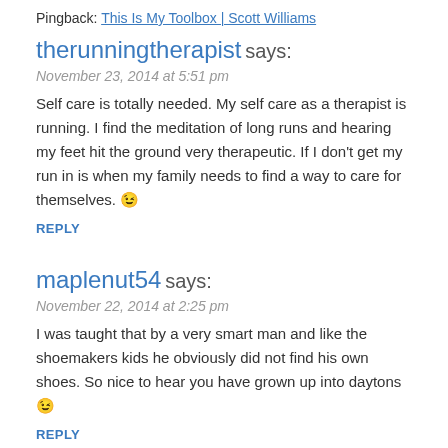Pingback: This Is My Toolbox | Scott Williams
therunningtherapist says:
November 23, 2014 at 5:51 pm
Self care is totally needed. My self care as a therapist is running. I find the meditation of long runs and hearing my feet hit the ground very therapeutic. If I don't get my run in is when my family needs to find a way to care for themselves. 😉
REPLY
maplenut54 says:
November 22, 2014 at 2:25 pm
I was taught that by a very smart man and like the shoemakers kids he obviously did not find his own shoes. So nice to hear you have grown up into daytons 😉
REPLY